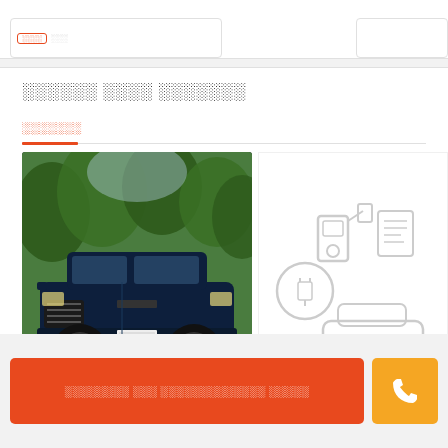░░░░░░ ░░░░ ░░░░░░░
░░░░░░░
[Figure (photo): Blue Jeep Renegade SUV photographed outdoors on a road surrounded by green trees]
[Figure (illustration): Gray line illustration of a car with fuel pump/charging icons]
░░░░░░░░ ░░░ ░░░░░░░░░░░░░ ░░░░░
[Figure (illustration): Phone icon on orange button]